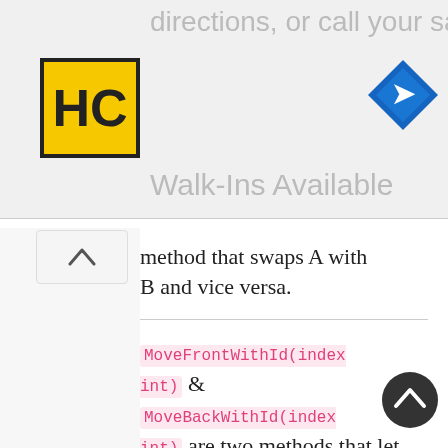[Figure (screenshot): Advertisement banner with HC salon logo, navigation arrow icon, text 'directions, or call your salon!' and 'Walk-Ins Available']
method that swaps A with B and vice versa.
MoveFrontWithId(index int) & MoveBackWithId(index int) are two methods that let you change the position of a certain element to the front or the back.
I think they are very useful